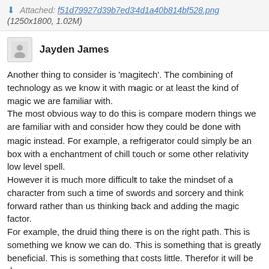Attached: f51d79927d39b7ed34d1a40b814bf528.png (1250x1800, 1.02M)
Jayden James
Another thing to consider is 'magitech'. The combining of technology as we know it with magic or at least the kind of magic we are familiar with.
The most obvious way to do this is compare modern things we are familiar with and consider how they could be done with magic instead. For example, a refrigerator could simply be an box with a enchantment of chill touch or some other relativity low level spell.
However it is much more difficult to take the mindset of a character from such a time of swords and sorcery and think forward rather than us thinking back and adding the magic factor.
For example, the druid thing there is on the right path. This is something we know we can do. This is something that is greatly beneficial. This is something that costs little. Therefor it will be done.
Another example could be the creation of places or